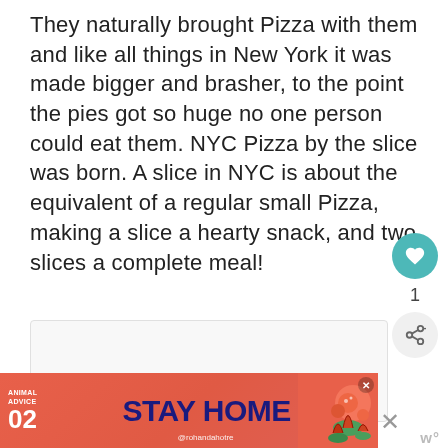They naturally brought Pizza with them and like all things in New York it was made bigger and brasher, to the point the pies got so huge no one person could eat them. NYC Pizza by the slice was born. A slice in NYC is about the equivalent of a regular small Pizza, making a slice a hearty snack, and two slices a complete meal!
[Figure (screenshot): Advertisement banner with coral/red background showing 'ANIMAL ADVICE 02 STAY HOME' in bold text with illustrated mushrooms/nature scene and '@rohandahotre' handle]